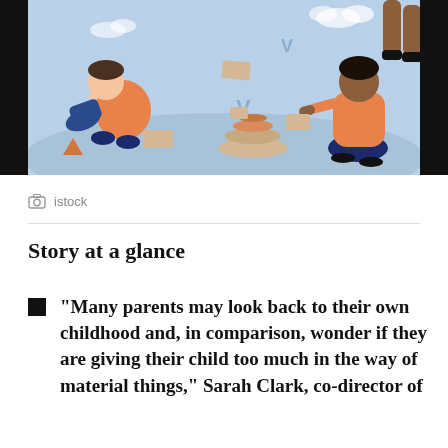[Figure (illustration): Illustrated scene of children playing with colorful building blocks on a light blue background. One child in orange shirt kneels stacking blocks on the right; another child in blue and orange plays on the left; block shapes (triangles, rectangles, stacked rounds) are scattered across the scene.]
istock
Story at a glance
“Many parents may look back to their own childhood and, in comparison, wonder if they are giving their child too much in the way of material things,” Sarah Clark, co-director of